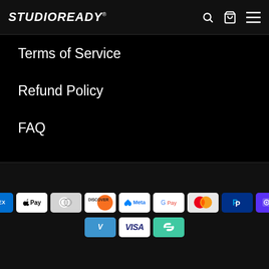STUDIOREADY®
Terms of Service
Refund Policy
FAQ
© Studio Ready
[Figure (other): Payment method icons: American Express, Apple Pay, Diners Club, Discover, Meta Pay, Google Pay, Mastercard, PayPal, Shop Pay, Venmo, Visa, and a loop/link icon]